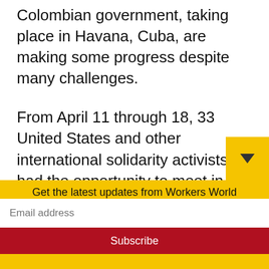Colombian government, taking place in Havana, Cuba, are making some progress despite many challenges.
From April 11 through 18, 33 United States and other international solidarity activists had the opportunity to meet in Havana with FARC-EP plenipotentiaries, as well as representatives of the Colombian government and the guarantor countries, Cuba and Norway, along with the FARC-EP legal advisors from Spain.
Get the latest updates from Workers World
Email address
Subscribe